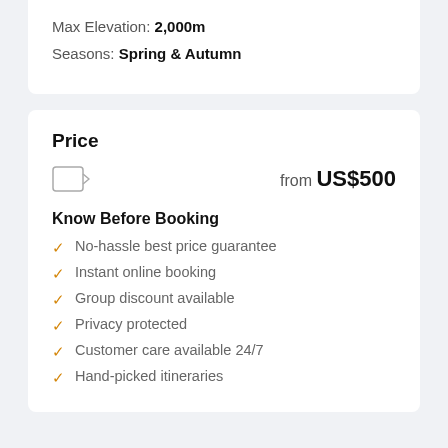Max Elevation: 2,000m
Seasons: Spring & Autumn
Price
from US$500
Know Before Booking
No-hassle best price guarantee
Instant online booking
Group discount available
Privacy protected
Customer care available 24/7
Hand-picked itineraries